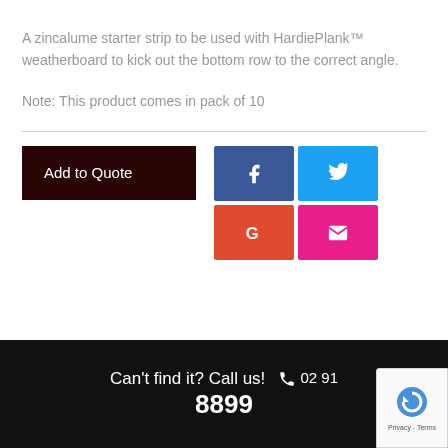A zincalume starter strip to be used with HardiePlank™ weatherboard to kick out the bottom row to the correct angle.
Note: This product comes in pack of 10
Add to Quote
[Figure (infographic): Social share buttons: Facebook (blue), Twitter (cyan), Google (orange-red), Email (pink/magenta)]
Can't find it? Call us! 02 91 8899